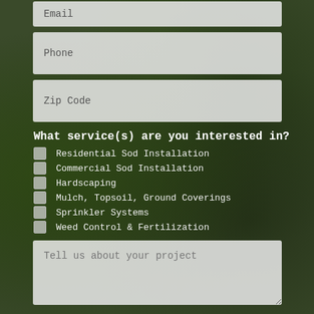Email
Phone
Zip Code
What service(s) are you interested in?
Residential Sod Installation
Commercial Sod Installation
Hardscaping
Mulch, Topsoil, Ground Coverings
Sprinkler Systems
Weed Control & Fertilization
Tell us about your project